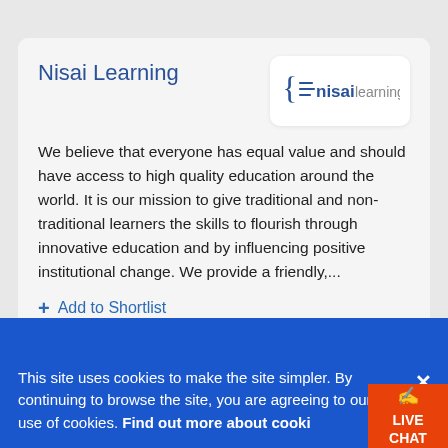Nisai Learning
[Figure (logo): Nisai Learning logo: curly brace with lines and text 'nisai learning' in blue and grey]
We believe that everyone has equal value and should have access to high quality education around the world. It is our mission to give traditional and non-traditional learners the skills to flourish through innovative education and by influencing positive institutional change. We provide a friendly,...
+ Add to Shortlist
020 8424 8475
This site uses cookies to make the site simpler. By continuing to browse the site, you are agreeing to our use of cookies. Find out more about cookies
LIVE CHAT